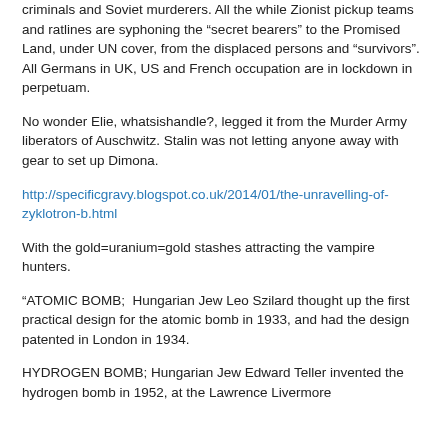criminals and Soviet murderers. All the while Zionist pickup teams and ratlines are syphoning the "secret bearers" to the Promised Land, under UN cover, from the displaced persons and "survivors". All Germans in UK, US and French occupation are in lockdown in perpetuam.
No wonder Elie, whatsishandle?, legged it from the Murder Army liberators of Auschwitz. Stalin was not letting anyone away with gear to set up Dimona.
http://specificgravy.blogspot.co.uk/2014/01/the-unravelling-of-zyklotron-b.html
With the gold=uranium=gold stashes attracting the vampire hunters.
“ATOMIC BOMB;  Hungarian Jew Leo Szilard thought up the first practical design for the atomic bomb in 1933, and had the design patented in London in 1934.
HYDROGEN BOMB; Hungarian Jew Edward Teller invented the hydrogen bomb in 1952, at the Lawrence Livermore